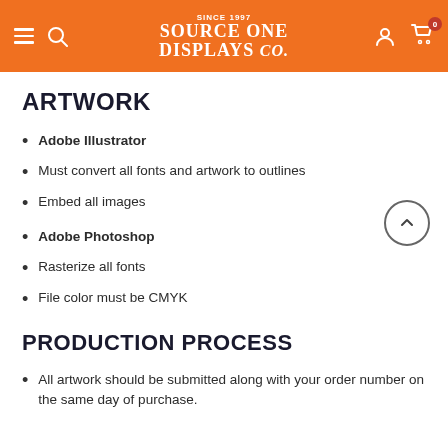Source One Displays Co — site header with navigation and cart
ARTWORK
Adobe Illustrator
Must convert all fonts and artwork to outlines
Embed all images
Adobe Photoshop
Rasterize all fonts
File color must be CMYK
PRODUCTION PROCESS
All artwork should be submitted along with your order number on the same day of purchase.